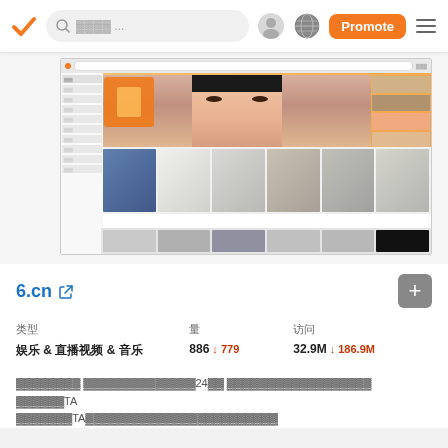Navigation bar with logo, search field, profile icon, globe icon, Promote button, and hamburger menu
[Figure (screenshot): Screenshot of 6.cn website showing a live streaming interface with a main video of a young woman's face, sidebar navigation with timestamps, thumbnail grid of female streamers, and bottom strip of smaller thumbnails]
6.cn ↗
类型: 娱乐 & 直播视频 & 音乐 | 量: 886 ↓ 779 | 访问: 32.9M ↓ 186.9M
我们的系统会密切关注互联网上数百万个网站，24小时全天候地创建适合在您网站上推广的高质量广告素材，并帮助TA们与适合TA们的受众群体完美匹配。